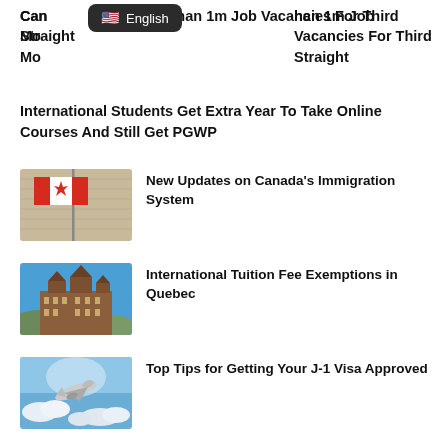Canada Has More Than 1m Job Vacancies For Third Straight Month
International Students Get Extra Year To Take Online Courses And Still Get PGWP
[Figure (photo): Canadian flag on a pole against a building backdrop]
New Updates on Canada's Immigration System
[Figure (photo): Chateau Frontenac in Quebec City under a blue sky]
International Tuition Fee Exemptions in Quebec
[Figure (photo): Airplane flying through clouds in a blue sky]
Top Tips for Getting Your J-1 Visa Approved